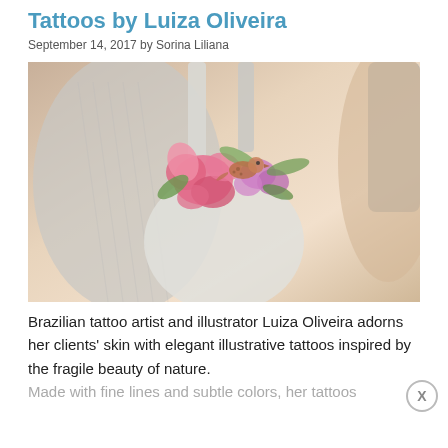Tattoos by Luiza Oliveira
September 14, 2017 by Sorina Liliana
[Figure (photo): Photo of a person's back/side torso wearing a white strappy top, with a colorful illustrative tattoo featuring pink flowers and a small bird in pink and purple tones]
Brazilian tattoo artist and illustrator Luiza Oliveira adorns her clients' skin with elegant illustrative tattoos inspired by the fragile beauty of nature.
Made with fine lines and subtle colors, her tattoos